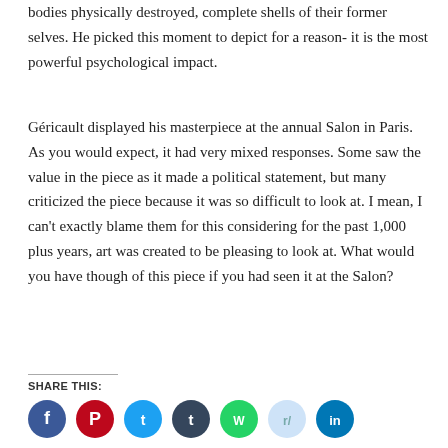bodies physically destroyed, complete shells of their former selves. He picked this moment to depict for a reason- it is the most powerful psychological impact.
Géricault displayed his masterpiece at the annual Salon in Paris. As you would expect, it had very mixed responses. Some saw the value in the piece as it made a political statement, but many criticized the piece because it was so difficult to look at. I mean, I can't exactly blame them for this considering for the past 1,000 plus years, art was created to be pleasing to look at. What would you have though of this piece if you had seen it at the Salon?
SHARE THIS:
[Figure (illustration): Row of social media icon circles: Facebook (blue), Pinterest (red), Twitter (blue), Tumblr (dark blue/navy), WhatsApp (green), Reddit (light grey/blue), LinkedIn (blue)]